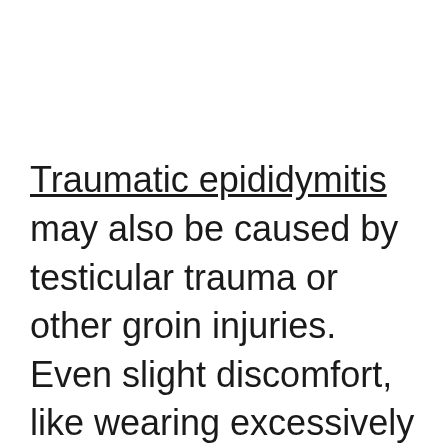Traumatic epididymitis may also be caused by testicular trauma or other groin injuries. Even slight discomfort, like wearing excessively